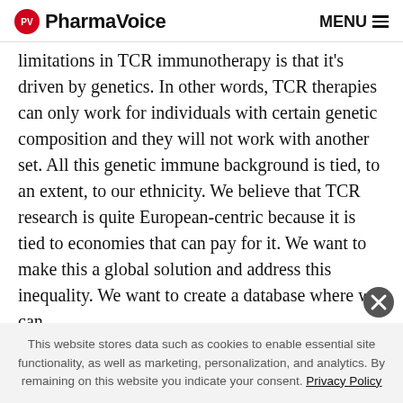PV PharmaVoice | MENU
limitations in TCR immunotherapy is that it's driven by genetics. In other words, TCR therapies can only work for individuals with certain genetic composition and they will not work with another set. All this genetic immune background is tied, to an extent, to our ethnicity. We believe that TCR research is quite European-centric because it is tied to economies that can pay for it. We want to make this a global solution and address this inequality. We want to create a database where we can
This website stores data such as cookies to enable essential site functionality, as well as marketing, personalization, and analytics. By remaining on this website you indicate your consent. Privacy Policy